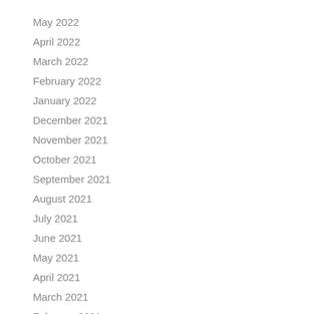May 2022
April 2022
March 2022
February 2022
January 2022
December 2021
November 2021
October 2021
September 2021
August 2021
July 2021
June 2021
May 2021
April 2021
March 2021
February 2021
January 2021
December 2020
November 2020
October 2020